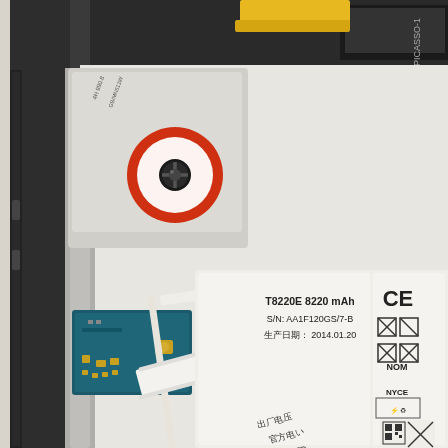[Figure (engineering-diagram): Close-up photo of the interior of a tablet device being disassembled. Shows a white battery labeled 'T8220E 8220 mAh, S/N: AA1F120GS/7-B, 生产日期: 2014.01.20' with Chinese text and regulatory symbols (CE, NOM, NYCE) on the right side. A blue circuit board with gold connectors is visible on the left. A flexible ribbon cable runs across the center. A red circle highlights a screw on the upper-left area of the device. Yellow flat flex cables are visible at the top. The text 'PICASSO-1' is partially visible in the upper-right corner.]